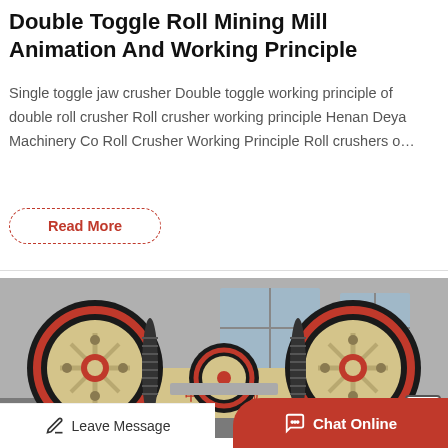Double Toggle Roll Mining Mill Animation And Working Principle
Single toggle jaw crusher Double toggle working principle of double roll crusher Roll crusher working principle Henan Deya Machinery Co Roll Crusher Working Principle Roll crushers o…
Read More
[Figure (photo): Industrial double roll crusher machine with large black and red-rimmed wheels/rollers in a factory setting. Chinese text on machine body. Cream/beige colored frame.]
Leave Message
Chat Online